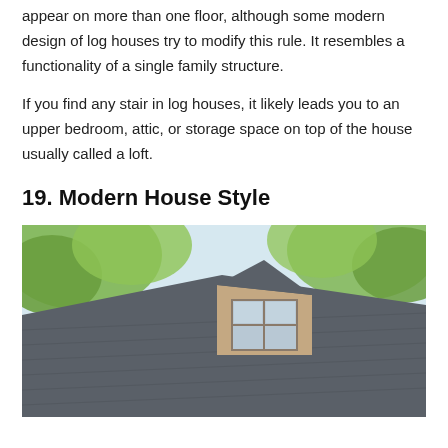appear on more than one floor, although some modern design of log houses try to modify this rule. It resembles a functionality of a single family structure.
If you find any stair in log houses, it likely leads you to an upper bedroom, attic, or storage space on top of the house usually called a loft.
19. Modern House Style
[Figure (photo): Exterior photo of a house with a dark slate/grey roof, dormer window, and surrounding green trees against a light sky.]